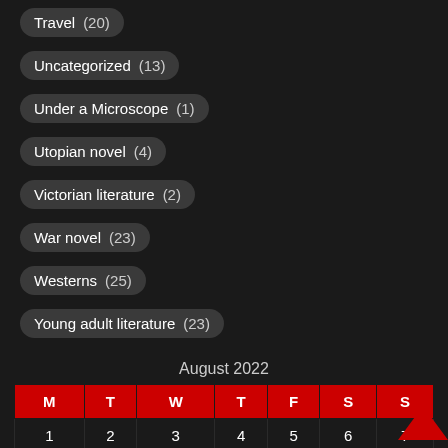Travel (20)
Uncategorized (13)
Under a Microscope (1)
Utopian novel (4)
Victorian literature (2)
War novel (23)
Westerns (25)
Young adult literature (23)
August 2022
| M | T | W | T | F | S | S |
| --- | --- | --- | --- | --- | --- | --- |
| 1 | 2 | 3 | 4 | 5 | 6 | 7 |